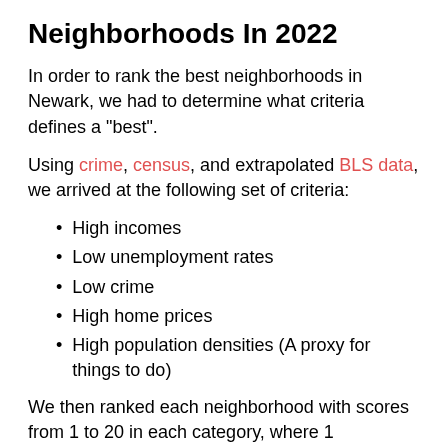Neighborhoods In 2022
In order to rank the best neighborhoods in Newark, we had to determine what criteria defines a "best".
Using crime, census, and extrapolated BLS data, we arrived at the following set of criteria:
High incomes
Low unemployment rates
Low crime
High home prices
High population densities (A proxy for things to do)
We then ranked each neighborhood with scores from 1 to 20 in each category, where 1